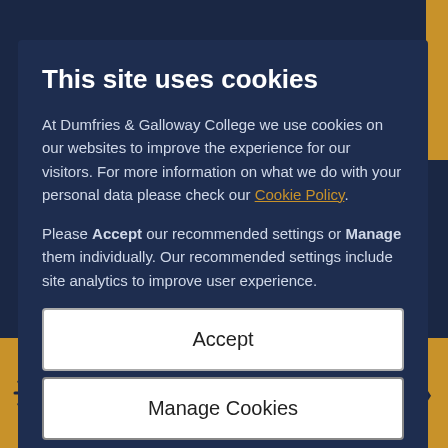This site uses cookies
At Dumfries & Galloway College we use cookies on our websites to improve the experience for our visitors. For more information on what we do with your personal data please check our Cookie Policy.
Please Accept our recommended settings or Manage them individually. Our recommended settings include site analytics to improve user experience.
Accept
Manage Cookies
Apply now – Other part-time day programme